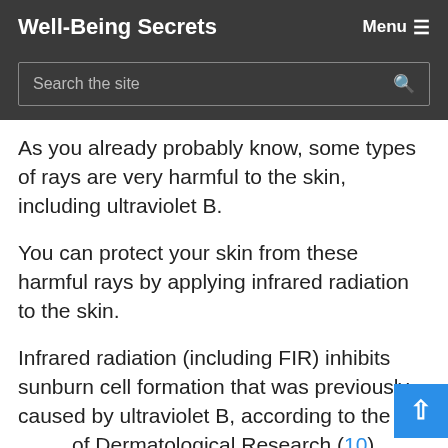Well-Being Secrets   Menu ≡
Search the site
As you already probably know, some types of rays are very harmful to the skin, including ultraviolet B.
You can protect your skin from these harmful rays by applying infrared radiation to the skin.
Infrared radiation (including FIR) inhibits sunburn cell formation that was previously caused by ultraviolet B, according to the Archives of Dermatological Research (10).